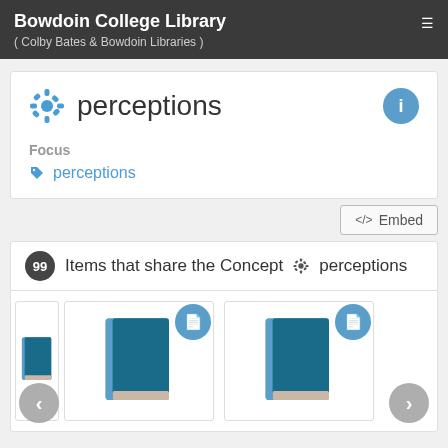Bowdoin College Library ( Colby Bates & Bowdoin Libraries )
perceptions
Focus: perceptions
<> Embed
99 Items that share the Concept perceptions
[Figure (illustration): Three book icons with document badges, part of a carousel showing items sharing the concept 'perceptions'. Left and right navigation arrows visible.]